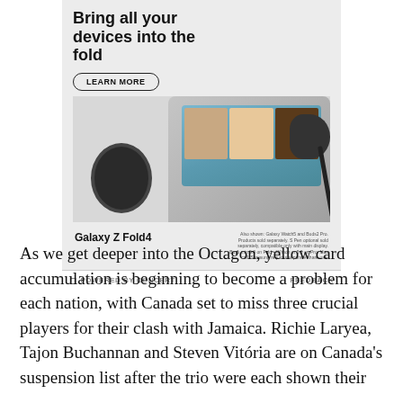[Figure (advertisement): Samsung Galaxy Z Fold4 advertisement showing the device with smart watch and earbuds. Headline reads 'Bring all your devices into the fold' with a 'LEARN MORE' button. Footer shows 'POWERED BY CONCERT' and 'FEEDBACK'.]
As we get deeper into the Octagon, yellow card accumulation is beginning to become a problem for each nation, with Canada set to miss three crucial players for their clash with Jamaica. Richie Laryea, Tajon Buchannan and Steven Vitória are on Canada's suspension list after the trio were each shown their